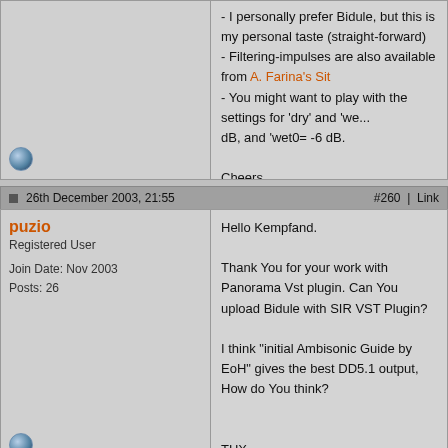- I personally prefer Bidule, but this is my personal taste (straight-forward)
- Filtering-impulses are also available from A. Farina's Sit
- You might want to play with the settings for 'dry' and 'we... dB, and 'wet0= -6 dB.

Cheers,
Andreas
26th December 2003, 21:55    #260 | Link
puzio
Registered User
Join Date: Nov 2003
Posts: 26
Hello Kempfand.

Thank You for your work with Panorama Vst plugin. Can You upload Bidule with SIR VST Plugin?

I think "initial Ambisonic Guide by EoH" gives the best DD5.1 output, How do You think?

THX
Page 13 of 37  « First  <  3  11  12  13  14  15  23  >  Last »